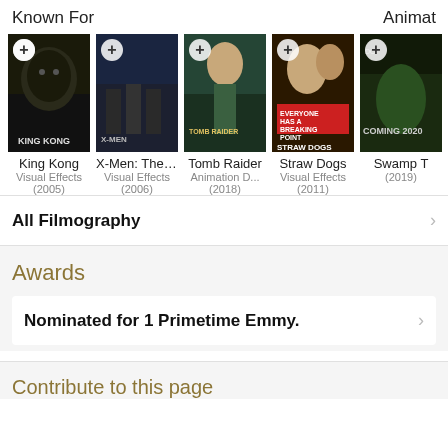Known For
[Figure (photo): Movie poster for King Kong (2005)]
King Kong
Visual Effects
(2005)
[Figure (photo): Movie poster for X-Men: The ... (2006)]
X-Men: The ...
Visual Effects
(2006)
[Figure (photo): Movie poster for Tomb Raider (2018)]
Tomb Raider
Animation D...
(2018)
[Figure (photo): Movie poster for Straw Dogs (2011)]
Straw Dogs
Visual Effects
(2011)
[Figure (photo): Movie poster for Swamp T... (2019)]
Swamp T
(2019)
All Filmography
Awards
Nominated for 1 Primetime Emmy.
Contribute to this page